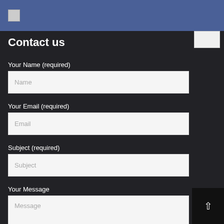Contact us
Your Name (required)
Name
Your Email (required)
Email
Subject (required)
Subject
Your Message
Message